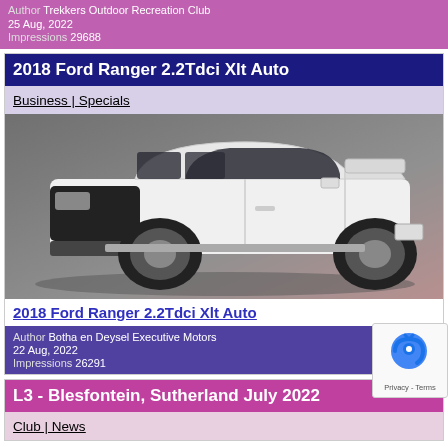Author: Trekkers Outdoor Recreation Club
25 Aug, 2022
Impressions: 29688
2018 Ford Ranger 2.2Tdci Xlt Auto
Business | Specials
[Figure (photo): White Ford Ranger pickup truck with canopy, side view, on grey background]
2018 Ford Ranger 2.2Tdci Xlt Auto
Author: Botha en Deysel Executive Motors
22 Aug, 2022
Impressions: 26291
L3 - Blesfontein, Sutherland July 2022
Club | News